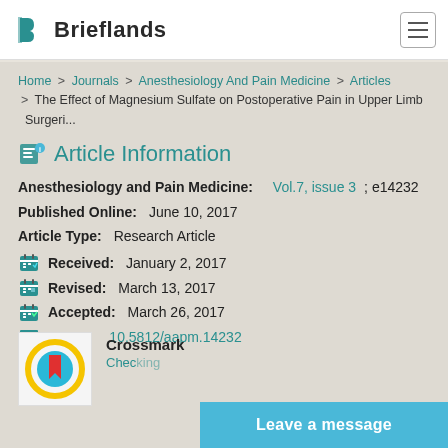Brieflands
Home > Journals > Anesthesiology And Pain Medicine > Articles > The Effect of Magnesium Sulfate on Postoperative Pain in Upper Limb Surgeri...
Article Information
Anesthesiology and Pain Medicine: Vol.7, issue 3; e14232
Published Online: June 10, 2017
Article Type: Research Article
Received: January 2, 2017
Revised: March 13, 2017
Accepted: March 26, 2017
DOI: 10.5812/aapm.14232
[Figure (logo): Crossmark logo badge]
Crossmark
Checking...
Leave a message